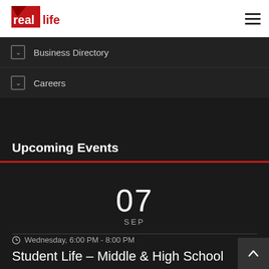[Figure (logo): Real Life church logo with red geometric shape and bold red/white text]
Business Directory
Careers
Upcoming Events
07
SEP
Wednesday, 6:00 PM - 8:00 PM
Student Life – Middle & High School